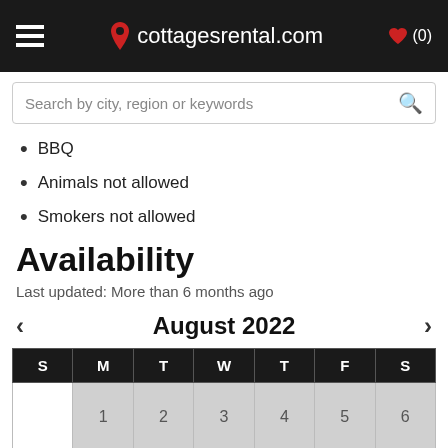cottagesrental.com
BBQ
Animals not allowed
Smokers not allowed
Availability
Last updated: More than 6 months ago
| S | M | T | W | T | F | S |
| --- | --- | --- | --- | --- | --- | --- |
|  | 1 | 2 | 3 | 4 | 5 | 6 |
| 7 | 8 | 9 | 10 | 11 | 12 | 13 |
| 14 | 15 | 16 | 17 | 18 | 19 | 20 |